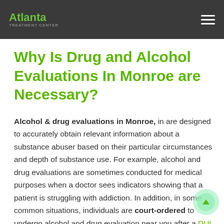Atlanta Treatment Center
Why Is Drug and Alcohol Evaluations In Monroe are Necessary?
Alcohol & drug evaluations in Monroe, in are designed to accurately obtain relevant information about a substance abuser based on their particular circumstances and depth of substance use. For example, alcohol and drug evaluations are sometimes conducted for medical purposes when a doctor sees indicators showing that a patient is struggling with addiction. In addition, in some common situations, individuals are court-ordered to undergo alcohol and drug evaluation near you after a DUI or other illegal acts